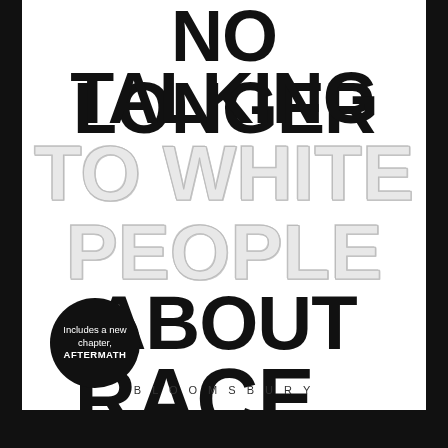[Figure (illustration): Book cover for 'No Longer Talking to White People About Race' published by Bloomsbury. Large bold black text for 'NO LONGER TALKING' and 'ABOUT RACE', with lighter embossed/ghost text for 'TO WHITE PEOPLE'. A black circular badge reads 'Includes a new chapter, AFTERMATH'. Publisher name BLOOMSBURY at the bottom in spaced caps.]